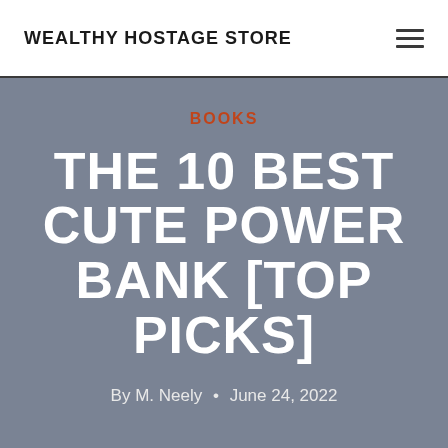WEALTHY HOSTAGE STORE
BOOKS
THE 10 BEST CUTE POWER BANK [TOP PICKS]
By M. Neely • June 24, 2022